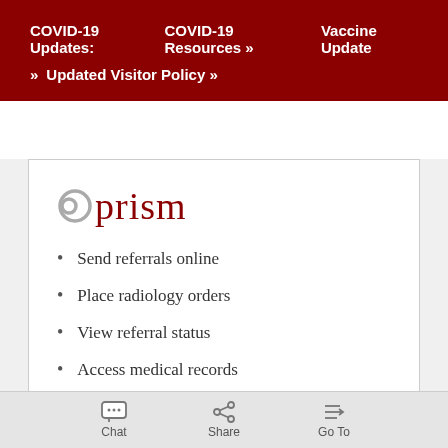COVID-19 Updates:   COVID-19 Resources »   Vaccine Update »   Updated Visitor Policy »
[Figure (logo): Prism logo with chain-link icon in gray and 'prism' text in dark red/maroon serif font]
Send referrals online
Place radiology orders
View referral status
Access medical records
Chat   Share   Go To